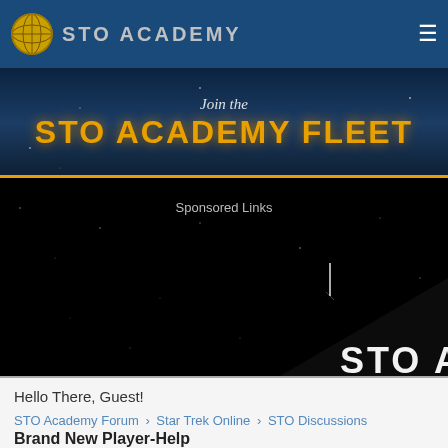STO Academy
[Figure (screenshot): STO Academy Fleet banner with space background, showing 'Join the STO ACADEMY FLEET' text and sponsored links area]
Hello There, Guest!
STO Academy Forum › Star Trek Online › STO Discussions
Brand New Player-Help
Pages (2): 1 2 Next »
| Brand New Player-Help |
| --- |